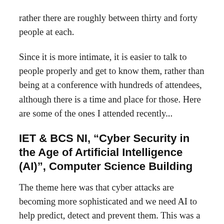rather there are roughly between thirty and forty people at each.
Since it is more intimate, it is easier to talk to people properly and get to know them, rather than being at a conference with hundreds of attendees, although there is a time and place for those. Here are some of the ones I attended recently...
IET & BCS NI, “Cyber Security in the Age of Artificial Intelligence (AI)”, Computer Science Building
The theme here was that cyber attacks are becoming more sophisticated and we need AI to help predict, detect and prevent them. This was a compelling lecture from Ian Glover who is the president of CREST